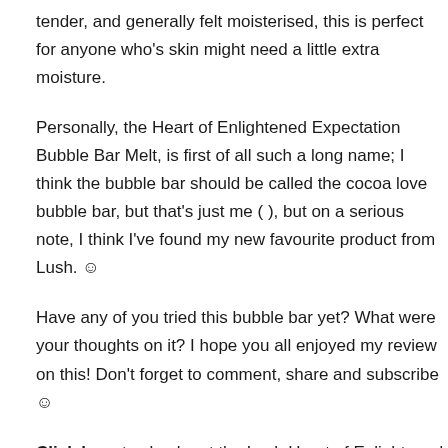tender, and generally felt moisterised, this is perfect for anyone who's skin might need a little extra moisture.
Personally, the Heart of Enlightened Expectation Bubble Bar Melt, is first of all such a long name; I think the bubble bar should be called the cocoa love bubble bar, but that's just me ( ), but on a serious note, I think I've found my new favourite product from Lush. ☺
Have any of you tried this bubble bar yet? What were your thoughts on it? I hope you all enjoyed my review on this! Don't forget to comment, share and subscribe ☺
Click here to check out the Lush Heart of Enlightened Expectation Bubble Bar Melt.